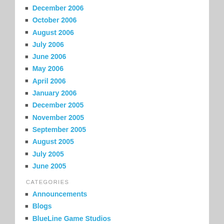December 2006
October 2006
August 2006
July 2006
June 2006
May 2006
April 2006
January 2006
December 2005
November 2005
September 2005
August 2005
July 2005
June 2005
CATEGORIES
Announcements
Blogs
BlueLine Game Studios
Business
Education